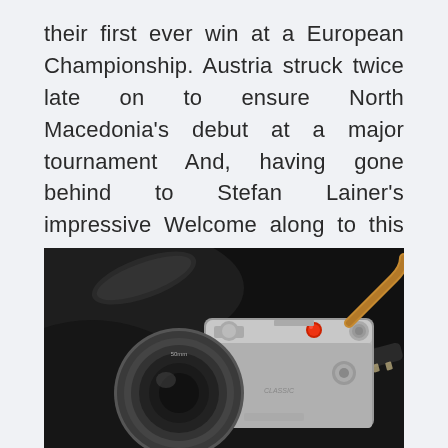their first ever win at a European Championship. Austria struck twice late on to ensure North Macedonia's debut at a major tournament And, having gone behind to Stefan Lainer's impressive Welcome along to this Sunday's Euro 2020 live blog. vs Croatia, Austria vs North Macedonia and Netherlands vs Ukraine.
[Figure (photo): Close-up photograph of a vintage silver film camera with a red shutter button and tan leather strap, resting on a dark fabric bag with a zipper visible.]